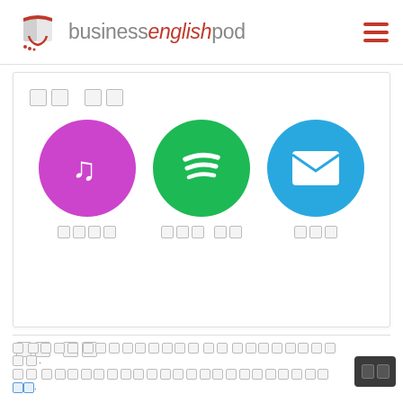businessenglishpod
[Figure (logo): Business English Pod logo with red book/hand icon and text businessenglishpod in gray with english in italic red]
[tofu characters - unrenderable unicode]
[Figure (illustration): Three circular icons: purple iTunes/music note icon, green Spotify icon, blue email/envelope icon]
[tofu] [tofu tofu] [tofu]
[tofu tofu]
[footer text with tofu characters and a blue link]